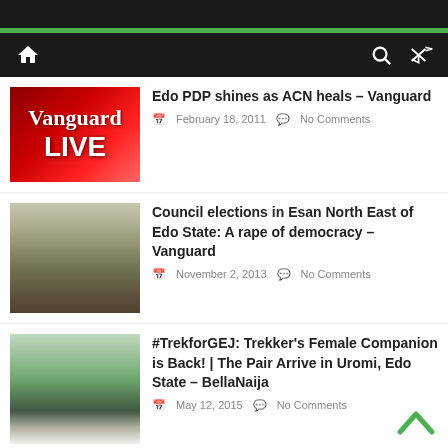Navigation bar with home icon, search icon, shuffle icon
Edo PDP shines as ACN heals – Vanguard | February 18, 2011 | No Comments
Council elections in Esan North East of Edo State: A rape of democracy – Vanguard | November 2, 2013 | No Comments
#TrekforGEJ: Trekker's Female Companion is Back! | The Pair Arrive in Uromi, Edo State – BellaNaija | May 12, 2015 | No Comments
Oshiomhole commissions market in